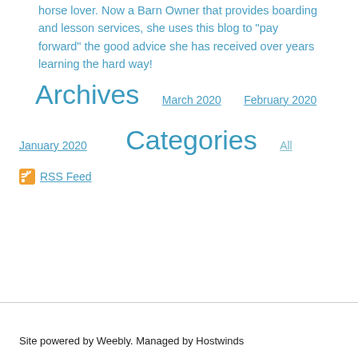horse lover.  Now a Barn Owner that provides boarding and lesson services, she uses this blog to "pay forward" the good advice she has received over years learning the hard way!
Archives
March 2020
February 2020
January 2020
Categories
All
RSS Feed
Site powered by Weebly. Managed by Hostwinds